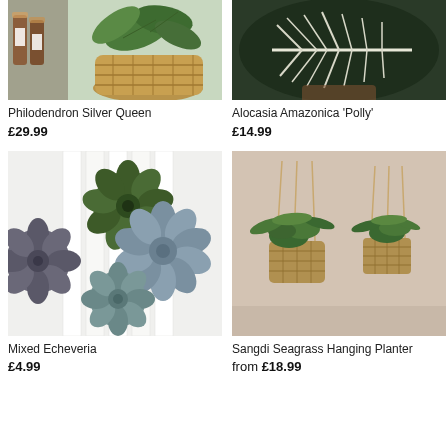[Figure (photo): Philodendron Silver Queen plant in a woven basket pot with amber glass bottles in background]
[Figure (photo): Alocasia Amazonica Polly close-up showing distinctive dark green leaf with white veins]
Philodendron Silver Queen
£29.99
Alocasia Amazonica 'Polly'
£14.99
[Figure (photo): Mixed Echeveria succulents arranged on white wooden surface, various shades of green and blue-grey]
[Figure (photo): Sangdi Seagrass Hanging Planter with green plants hanging from rope against beige background]
Mixed Echeveria
£4.99
Sangdi Seagrass Hanging Planter
from £18.99